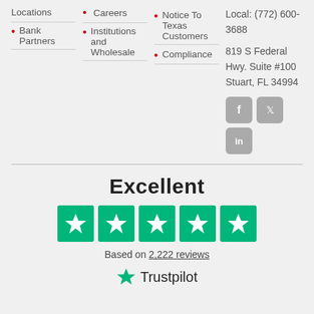Locations
Bank Partners
Careers
Institutions and Wholesale
Notice To Texas Customers
Compliance
Local: (772) 600-3688
819 S Federal Hwy. Suite #100
Stuart, FL 34994
[Figure (infographic): Social media icons for Facebook, Twitter, and LinkedIn displayed as grey rounded square buttons]
Excellent
[Figure (infographic): Five green star rating boxes from Trustpilot]
Based on 2,222 reviews
[Figure (logo): Trustpilot logo with green star]